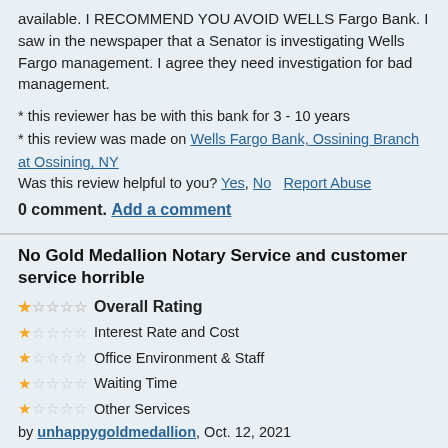available. I RECOMMEND YOU AVOID WELLS Fargo Bank. I saw in the newspaper that a Senator is investigating Wells Fargo management. I agree they need investigation for bad management.
* this reviewer has be with this bank for 3 - 10 years
* this review was made on Wells Fargo Bank, Ossining Branch at Ossining, NY
Was this review helpful to you? Yes, No   Report Abuse
0 comment. Add a comment
No Gold Medallion Notary Service and customer service horrible
Overall Rating - 1 star
Interest Rate and Cost - 1 star
Office Environment & Staff - 1 star
Waiting Time - 1 star
Other Services - 1 star
by unhappygoldmedallion, Oct. 12, 2021
I would rate the bank -10 if that was an option. I called the 800 customer service after giving all my info and "first born" to just talk to someone in Birmingham about a Gold